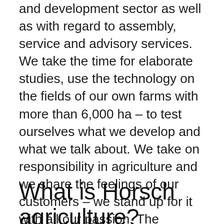and development sector as well as with regard to assembly, service and advisory services. We take the time for elaborate studies, use the technology on the fields of our own farms with more than 6,000 ha – to test ourselves what we develop and what we talk about. We take on responsibility in agriculture and we share the feelings of our customers – we stand up for it with all our passion. The agricultural origin makes HORSCH and its hybrid farming products your optimum solution. All machines can be adapted perfectly to your requirements (soils, climate, farm size…) in the sector of hybrid farming.
What is Horsch agriculture?